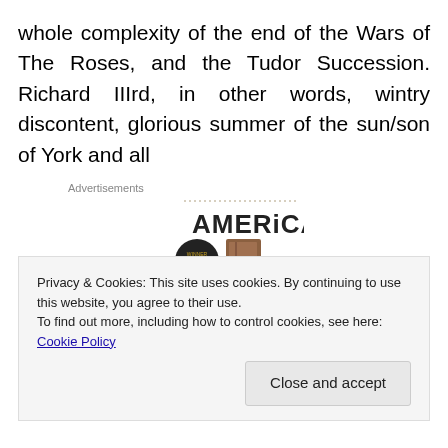whole complexity of the end of the Wars of The Roses, and the Tudor Succession. Richard IIIrd, in other words, wintry discontent, glorious summer of the sun/son of York and all
Advertisements
[Figure (illustration): Book cover of 'American Pastoral' showing the title in large letters with a Pulitzer Prize seal and an illustration of a figure]
Privacy & Cookies: This site uses cookies. By continuing to use this website, you agree to their use.
To find out more, including how to control cookies, see here: Cookie Policy